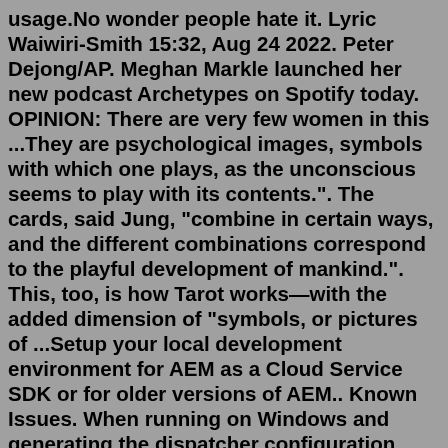usage.No wonder people hate it. Lyric Waiwiri-Smith 15:32, Aug 24 2022. Peter Dejong/AP. Meghan Markle launched her new podcast Archetypes on Spotify today. OPINION: There are very few women in this ...They are psychological images, symbols with which one plays, as the unconscious seems to play with its contents.". The cards, said Jung, "combine in certain ways, and the different combinations correspond to the playful development of mankind.". This, too, is how Tarot works—with the added dimension of "symbols, or pictures of ...Setup your local development environment for AEM as a Cloud Service SDK or for older versions of AEM.. Known Issues. When running on Windows and generating the dispatcher configuration, you should be running in an elevated command prompt or the Windows Subsystem for Linux (see #329).. When executing the archetype in interactive mode (without the -B parameter), the properties with default ...Martial Archetype. At 3rd level, a fighter gains the Martial Archetype feature. The following options are...